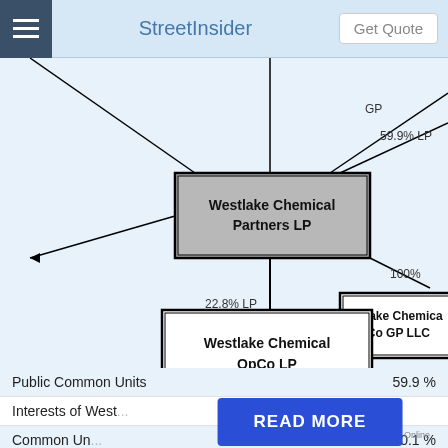StreetInsider   Get Quote
[Figure (organizational-chart): Organizational/ownership chart showing Westlake Chemical Partners LP (gray shaded box, center) connected above by lines labeled 'GP' and '59.9% LP', connected below-right to 'Westlake Chemical OpCo GP LLC' box labeled '100%', and connected below via '22.8% LP' and 'GP' lines to 'Westlake Chemical OpCo LP' box at bottom.]
|  |  |
| --- | --- |
| Public Common Units | 59.9 % |
| Interests of Westlake... |  |
| Common Un... | 40.1 % |
READ MORE
on Newz Online